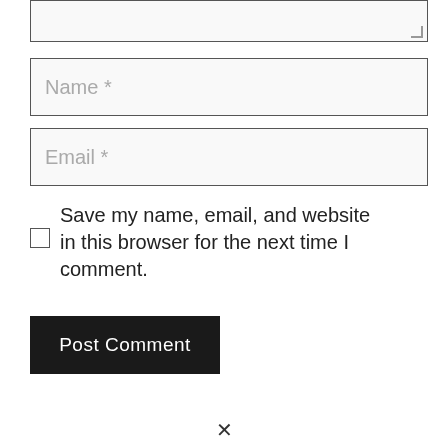[Figure (screenshot): Partial textarea input box at top of page (cropped)]
Name *
Email *
Save my name, email, and website in this browser for the next time I comment.
Post Comment